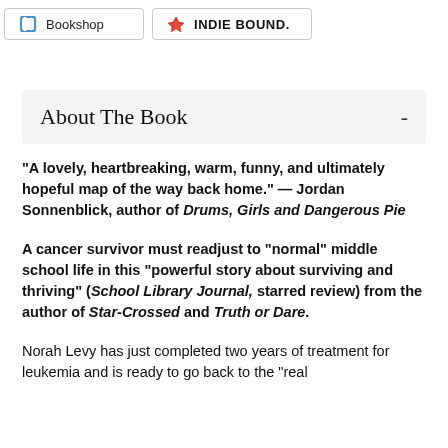[Figure (logo): Bookshop logo with B icon and text 'Bookshop']
[Figure (logo): IndieBound logo with flame icon and text 'INDIE BOUND.']
About The Book -
“A lovely, heartbreaking, warm, funny, and ultimately hopeful map of the way back home.” — Jordan Sonnenblick, author of Drums, Girls and Dangerous Pie
A cancer survivor must readjust to “normal” middle school life in this “powerful story about surviving and thriving” (School Library Journal, starred review) from the author of Star-Crossed and Truth or Dare.
Norah Levy has just completed two years of treatment for leukemia and is ready to go back to the “real